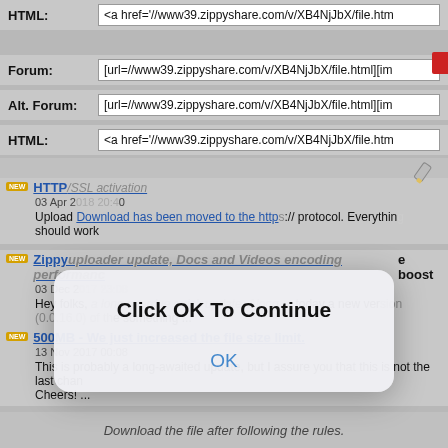HTML: <a href='//www39.zippyshare.com/v/XB4NjJbX/file.htm
Forum: [url=//www39.zippyshare.com/v/XB4NjJbX/file.html][im
Alt. Forum: [url=//www39.zippyshare.com/v/XB4NjJbX/file.html][im
HTML: <a href='//www39.zippyshare.com/v/XB4NjJbX/file.htm
[Figure (screenshot): Modal dialog overlay with text 'Click OK To Continue' and an OK button]
HTTP/SSL activation
03 Apr 2018 20:40
Upload Download has been moved to the https:// protocol. Everything should work...
Zippyuploader update, Docs and Videos encoding performance boost
03 Dec 2017 23:08
Hey folks, a long overdue quick update. Along ... today a new version (0.0.16.0) of th... something ...
500MB - We just increased the file size limit.
13 Nov 2017 00:08
This is probably a long-awaited update, but I assure you that this is not the last chan... Cheers! ...
Download the file after following the rules.